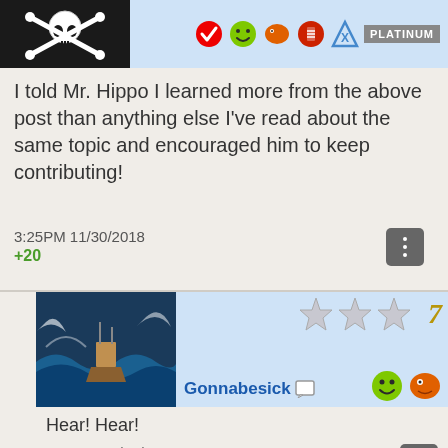[Figure (screenshot): Forum post top header with skull-and-crossbones avatar and platinum badge with rating icons]
I told Mr. Hippo I learned more from the above post than anything else I've read about the same topic and encouraged him to keep contributing!
3:25PM 11/30/2018
+20
[Figure (screenshot): Reply by user Gonnabesick with ship in storm avatar, 7 stars rating, smiley and chat emojis]
Hear! Hear!
3:32PM 11/30/2018
+2
[Figure (screenshot): Reply by user stckpkr7000-The Man With A Spear with photo avatar of two men, 11 badge, stars rating]